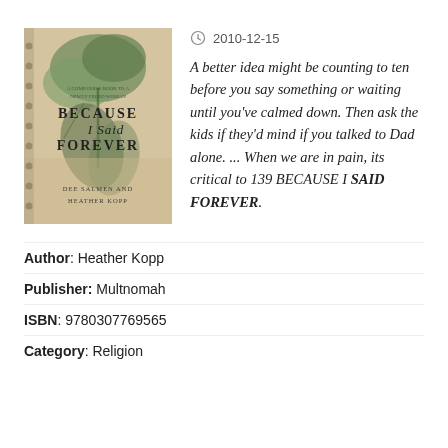[Figure (illustration): Book cover of 'Because I Said Forever' by Dee Salmen and Heather Kopp. Shows botanical/floral imagery with greenish leaves on a warm beige/tan background. Title and authors are printed on the cover.]
2010-12-15
A better idea might be counting to ten before you say something or waiting until you've calmed down. Then ask the kids if they'd mind if you talked to Dad alone. ... When we are in pain, its critical to 139 BECAUSE I SAID FOREVER.
Author: Heather Kopp
Publisher: Multnomah
ISBN: 9780307769565
Category: Religion